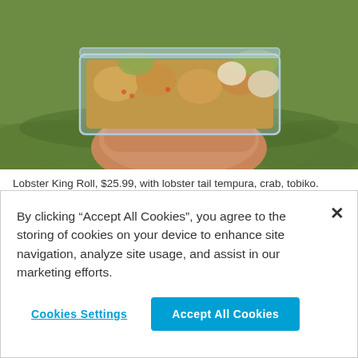[Figure (photo): A hand holding a clear glass/plastic container with sushi rolls — Lobster King Roll — held against a green grass background]
Lobster King Roll, $25.99, with lobster tail tempura, crab, tobiko. Photo: Kelli Shiroma Braiotta
By clicking “Accept All Cookies”, you agree to the storing of cookies on your device to enhance site navigation, analyze site usage, and assist in our marketing efforts.
Cookies Settings
Accept All Cookies